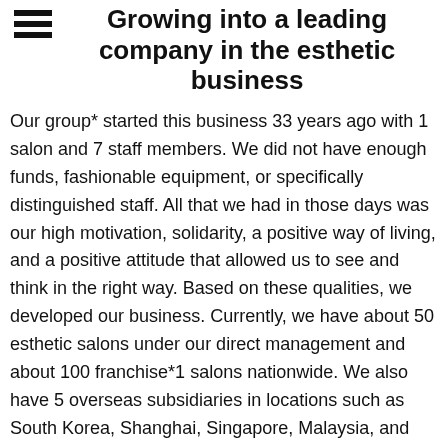Growing into a leading company in the esthetic business
Our group* started this business 33 years ago with 1 salon and 7 staff members. We did not have enough funds, fashionable equipment, or specifically distinguished staff. All that we had in those days was our high motivation, solidarity, a positive way of living, and a positive attitude that allowed us to see and think in the right way. Based on these qualities, we developed our business. Currently, we have about 50 esthetic salons under our direct management and about 100 franchise*1 salons nationwide. We also have 5 overseas subsidiaries in locations such as South Korea, Shanghai, Singapore, Malaysia, and France. The total assets of the entire group were about 15.3 billion yen and the net assets were about 9 billion yen in FY2016.